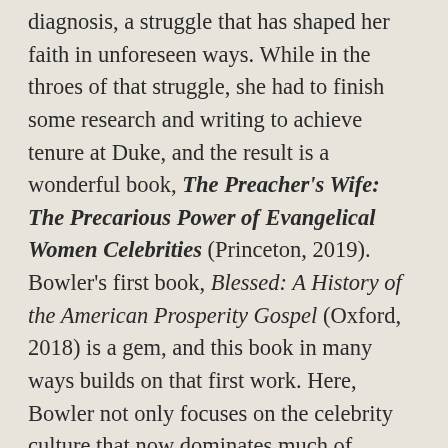diagnosis, a struggle that has shaped her faith in unforeseen ways. While in the throes of that struggle, she had to finish some research and writing to achieve tenure at Duke, and the result is a wonderful book, The Preacher's Wife: The Precarious Power of Evangelical Women Celebrities (Princeton, 2019). Bowler's first book, Blessed: A History of the American Prosperity Gospel (Oxford, 2018) is a gem, and this book in many ways builds on that first work. Here, Bowler not only focuses on the celebrity culture that now dominates much of American evangelicalism but on ongoing conflicts over what leadership and teaching roles that women can take in churches and ministry organizations. In most megachurches, especially those that identify as Protestant denominations, and so on...